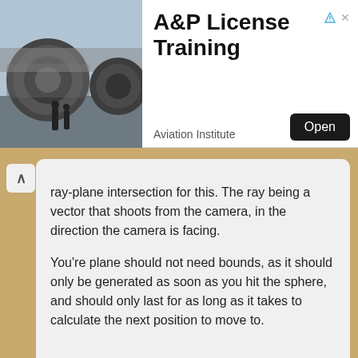[Figure (screenshot): Advertisement banner for A&P License Training by Aviation Institute, showing jet engines with technicians, with an Open button]
ray-plane intersection for this. The ray being a vector that shoots from the camera, in the direction the camera is facing.

You're plane should not need bounds, as it should only be generated as soon as you hit the sphere, and should only last for as long as it takes to calculate the next position to move to.

Cheers,
Swiftless